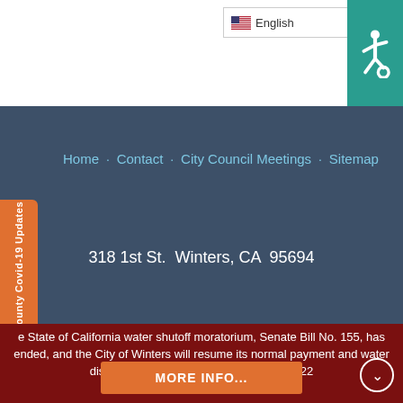[Figure (screenshot): Language selector dropdown showing English with US flag]
[Figure (logo): Accessibility icon (wheelchair symbol) on teal background]
Home · Contact · City Council Meetings · Sitemap
318 1st St.  Winters, CA  95694
Yolo County Covid-19 Updates
e State of California water shutoff moratorium, Senate Bill No. 155, has ended, and the City of Winters will resume its normal payment and water disconnection policy on September 1, 2022
MORE INFO...